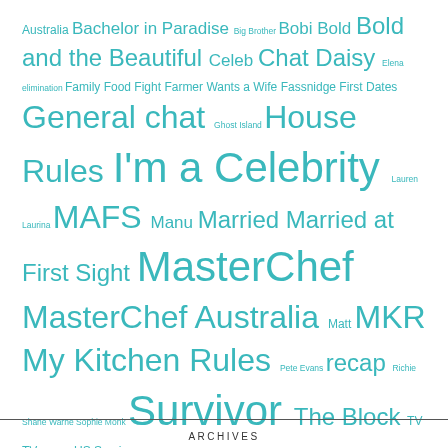Australia Bachelor in Paradise Big Brother Bobi Bold Bold and the Beautiful Celeb Chat Daisy Elena elimination Family Food Fight Farmer Wants a Wife Fassnidge First Dates General chat Ghost Island House Rules I'm a Celebrity Lauren Laurina MAFS Manu Married Married at First Sight MasterChef MasterChef Australia Matt MKR My Kitchen Rules Pete Evans recap Richie Shane Warne Sophie Monk Survivor The Block TV TV recap US Survivor
ARCHIVES